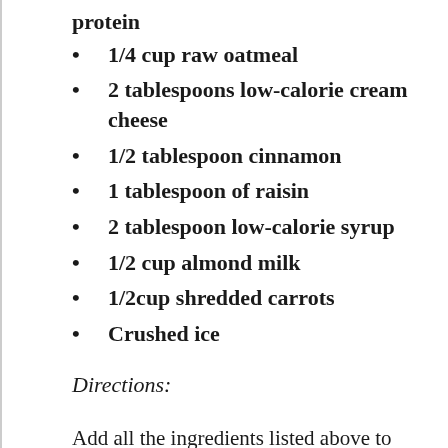protein
1/4 cup raw oatmeal
2 tablespoons low-calorie cream cheese
1/2 tablespoon cinnamon
1 tablespoon of raisin
2 tablespoon low-calorie syrup
1/2 cup almond milk
1/2cup shredded carrots
Crushed ice
Directions:
Add all the ingredients listed above to the blender along with crushed ice. Continue to add ice until you achieve the desired